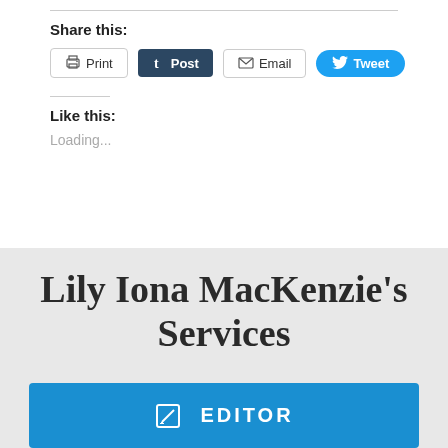Share this:
[Figure (screenshot): Row of share buttons: Print, Post (Tumblr), Email, Tweet (Twitter)]
Like this:
Loading...
Lily Iona MacKenzie's Services
[Figure (screenshot): Blue EDITOR button bar with edit icon]